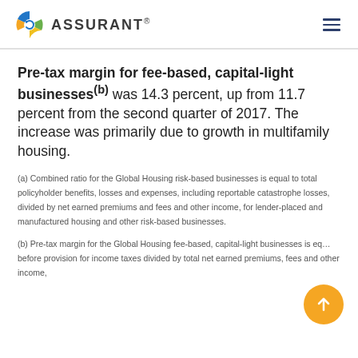ASSURANT®
Pre-tax margin for fee-based, capital-light businesses(b) was 14.3 percent, up from 11.7 percent from the second quarter of 2017. The increase was primarily due to growth in multifamily housing.
(a) Combined ratio for the Global Housing risk-based businesses is equal to total policyholder benefits, losses and expenses, including reportable catastrophe losses, divided by net earned premiums and fees and other income, for lender-placed and manufactured housing and other risk-based businesses.
(b) Pre-tax margin for the Global Housing fee-based, capital-light businesses is equal to income before provision for income taxes divided by total net earned premiums, fees and other income,